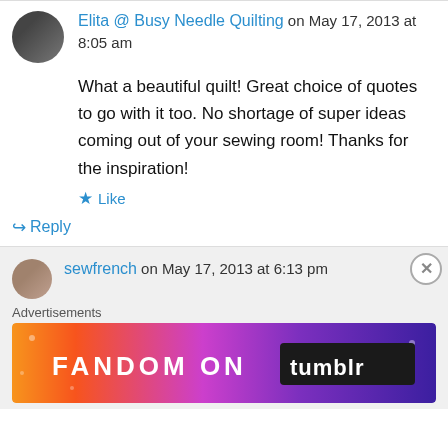Elita @ Busy Needle Quilting on May 17, 2013 at 8:05 am
What a beautiful quilt! Great choice of quotes to go with it too. No shortage of super ideas coming out of your sewing room! Thanks for the inspiration!
Like
Reply
sewfrench on May 17, 2013 at 6:13 pm
Advertisements
[Figure (illustration): Fandom on Tumblr advertisement banner with colorful gradient background]